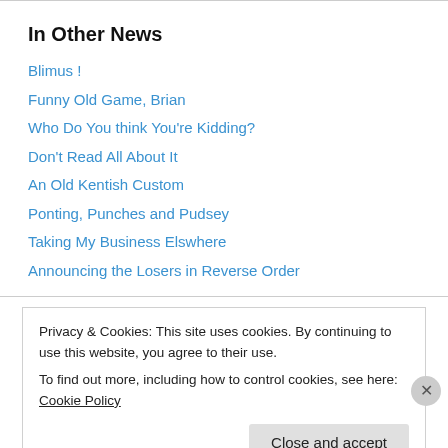In Other News
Blimus !
Funny Old Game, Brian
Who Do You think You're Kidding?
Don't Read All About It
An Old Kentish Custom
Ponting, Punches and Pudsey
Taking My Business Elswhere
Announcing the Losers in Reverse Order
Privacy & Cookies: This site uses cookies. By continuing to use this website, you agree to their use. To find out more, including how to control cookies, see here: Cookie Policy
Close and accept